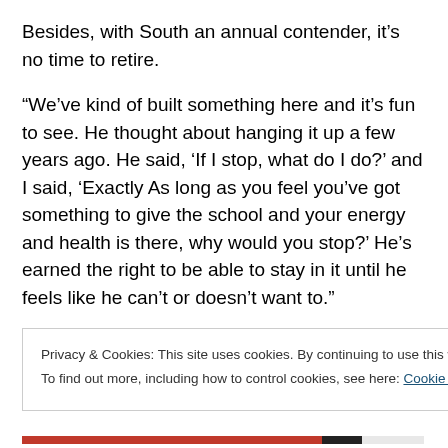Besides, with South an annual contender, it’s no time to retire.
“We’ve kind of built something here and it’s fun to see. He thought about hanging it up a few years ago. He said, ‘If I stop, what do I do?’ and I said, ‘Exactly As long as you feel you’ve got something to give the school and your energy and health is there, why would you stop?’ He’s earned the right to be able to stay in it until he feels like he can’t or doesn’t want to.”
She kind of figures “he still likes being around the kids”
Privacy & Cookies: This site uses cookies. By continuing to use this website, you agree to their use.
To find out more, including how to control cookies, see here: Cookie Policy
Close and accept